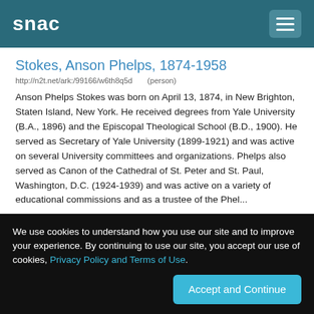snac
Stokes, Anson Phelps, 1874-1958
http://n2t.net/ark:/99166/w6th8q5d    (person)
Anson Phelps Stokes was born on April 13, 1874, in New Brighton, Staten Island, New York. He received degrees from Yale University (B.A., 1896) and the Episcopal Theological School (B.D., 1900). He served as Secretary of Yale University (1899-1921) and was active on several University committees and organizations. Phelps also served as Canon of the Cathedral of St. Peter and St. Paul, Washington, D.C. (1924-1939) and was active on a variety of educational commissions and as a trustee of the Phel...
Fisher, Irving, 1867-1947
We use cookies to understand how you use our site and to improve your experience. By continuing to use our site, you accept our use of cookies, Privacy Policy and Terms of Use.